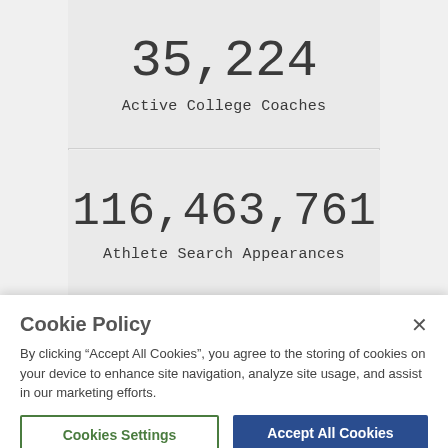35,224
Active College Coaches
116,463,761
Athlete Search Appearances
Cookie Policy
By clicking “Accept All Cookies”, you agree to the storing of cookies on your device to enhance site navigation, analyze site usage, and assist in our marketing efforts.
Cookies Settings
Accept All Cookies